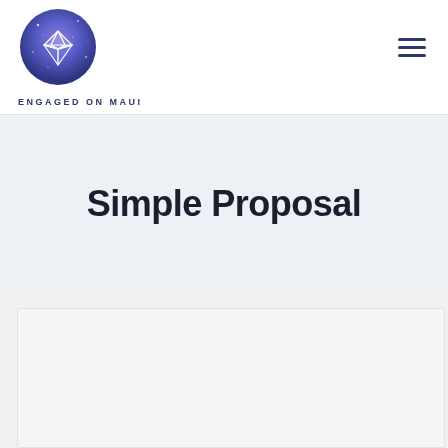[Figure (logo): Circular logo with purple/blue galaxy background and white diamond outline illustration, for Engaged on Maui]
ENGAGED ON MAUI
Simple Proposal
[Figure (photo): Partially visible white/light grey card or image box in the lower content section]